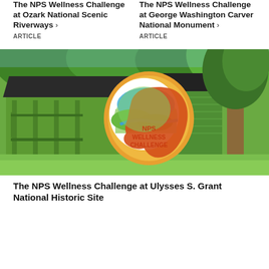The NPS Wellness Challenge at Ozark National Scenic Riverways ›
ARTICLE
The NPS Wellness Challenge at George Washington Carver National Monument ›
ARTICLE
[Figure (photo): Green historic building with porch and large tree, overlaid with NPS Wellness Challenge logo showing a human head silhouette with a landscape scene inside, surrounded by orange and gold circular design.]
The NPS Wellness Challenge at Ulysses S. Grant National Historic Site